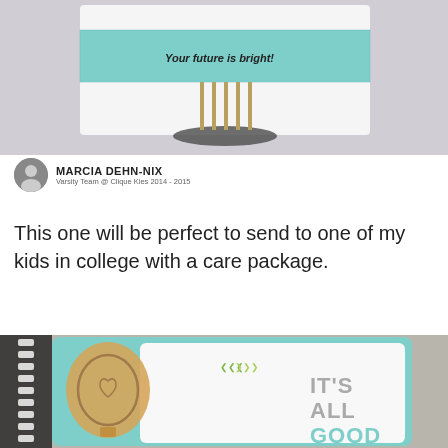[Figure (photo): Photo of a card with 'Your future is bright!' text displayed on a metal stand holder, with teal/mint patterned background]
MARCIA DEHN-NIX
Varsity Team @ Clique Kies 2014 - 2015
This one will be perfect to send to one of my kids in college with a care package.
[Figure (photo): Photo of a card/notebook with a wooden lightbulb embellishment on teal patterned background with 'IT'S ALL GOOD' text, spiral binding on left side]